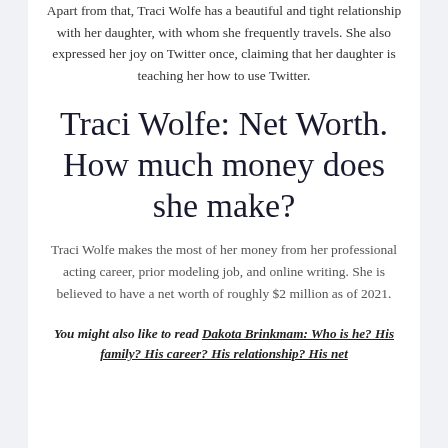Apart from that, Traci Wolfe has a beautiful and tight relationship with her daughter, with whom she frequently travels. She also expressed her joy on Twitter once, claiming that her daughter is teaching her how to use Twitter.
Traci Wolfe: Net Worth. How much money does she make?
Traci Wolfe makes the most of her money from her professional acting career, prior modeling job, and online writing. She is believed to have a net worth of roughly $2 million as of 2021.
You might also like to read Dakota Brinkmam: Who is he? His family? His career? His relationship? His net